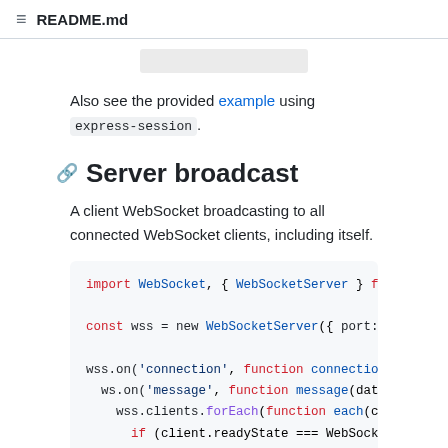README.md
Also see the provided example using express-session.
Server broadcast
A client WebSocket broadcasting to all connected WebSocket clients, including itself.
[Figure (screenshot): Code block showing JavaScript WebSocket server broadcast example using ws library. Code includes: import WebSocket, { WebSocketServer } from 'ws'; const wss = new WebSocketServer({ port: 8080 }); wss.on('connection', function connection(ws) { ws.on('message', function message(data, isB... wss.clients.forEach(function each(client) { if (client.readyState === WebSocket.OPE... client.send(data, { binary: isBinary...]